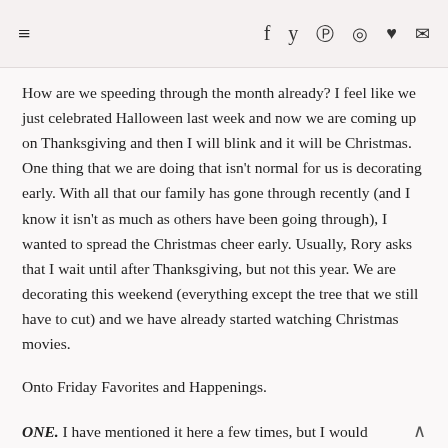≡  f  𝕷  ⊕  ◎  ♥  ✉
How are we speeding through the month already? I feel like we just celebrated Halloween last week and now we are coming up on Thanksgiving and then I will blink and it will be Christmas. One thing that we are doing that isn't normal for us is decorating early. With all that our family has gone through recently (and I know it isn't as much as others have been going through), I wanted to spread the Christmas cheer early. Usually, Rory asks that I wait until after Thanksgiving, but not this year. We are decorating this weekend (everything except the tree that we still have to cut) and we have already started watching Christmas movies.
Onto Friday Favorites and Happenings.
ONE. I have mentioned it here a few times, but I would